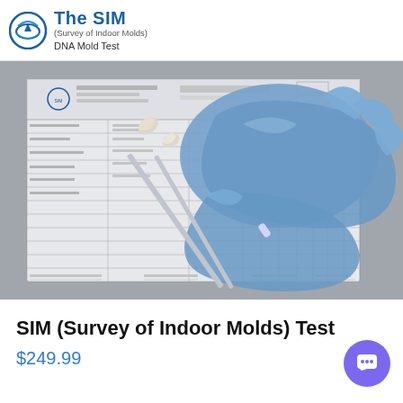[Figure (logo): The SIM (Survey of Indoor Molds) DNA Mold Test logo with circular eye/mountain icon in blue]
[Figure (photo): Photo of a DNA mold test form/chain of custody document on a metal surface with blue latex gloves and two swab collection tools placed on top]
SIM (Survey of Indoor Molds) Test
$249.99